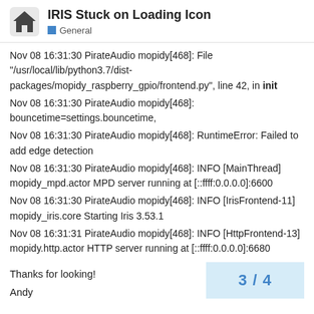IRIS Stuck on Loading Icon — General
Nov 08 16:31:30 PirateAudio mopidy[468]: File "/usr/local/lib/python3.7/dist-packages/mopidy_raspberry_gpio/frontend.py", line 42, in init
Nov 08 16:31:30 PirateAudio mopidy[468]: bouncetime=settings.bouncetime,
Nov 08 16:31:30 PirateAudio mopidy[468]: RuntimeError: Failed to add edge detection
Nov 08 16:31:30 PirateAudio mopidy[468]: INFO [MainThread] mopidy_mpd.actor MPD server running at [::ffff:0.0.0.0]:6600
Nov 08 16:31:30 PirateAudio mopidy[468]: INFO [IrisFrontend-11] mopidy_iris.core Starting Iris 3.53.1
Nov 08 16:31:31 PirateAudio mopidy[468]: INFO [HttpFrontend-13] mopidy.http.actor HTTP server running at [::ffff:0.0.0.0]:6680
Thanks for looking!
Andy
3 / 4